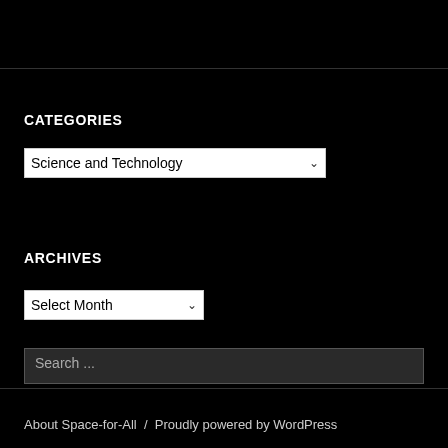CATEGORIES
[Figure (screenshot): Dropdown selector showing 'Science and Technology' with a chevron arrow on the right]
ARCHIVES
[Figure (screenshot): Dropdown selector showing 'Select Month' with a chevron arrow on the right]
[Figure (screenshot): Search input box with placeholder text 'Search ...']
About Space-for-All  /  Proudly powered by WordPress